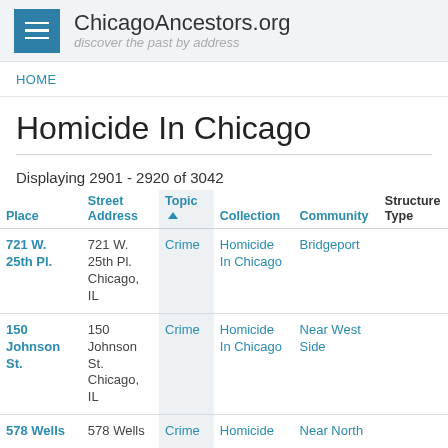ChicagoAncestors.org — discover the past by address
HOME
Homicide In Chicago
Displaying 2901 - 2920 of 3042
| Place | Street Address | Topic | Collection | Community | Structure Type |
| --- | --- | --- | --- | --- | --- |
| 721 W. 25th Pl. | 721 W. 25th Pl. Chicago, IL | Crime | Homicide In Chicago | Bridgeport |  |
| 150 Johnson St. | 150 Johnson St. Chicago, IL | Crime | Homicide In Chicago | Near West Side |  |
| 578 Wells | 578 Wells | Crime | Homicide | Near North |  |